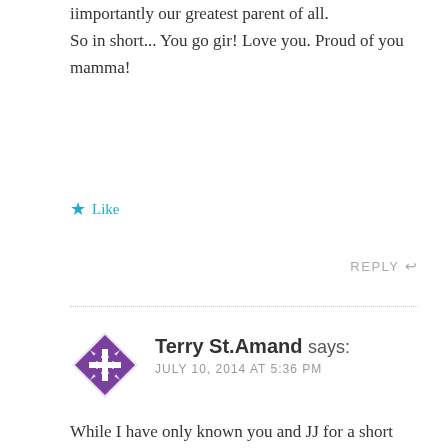iimportantly our greatest parent of all.
So in short... You go gir! Love you. Proud of you mamma!
★ Like
REPLY ↩
Terry St.Amand says:
JULY 10, 2014 AT 5:36 PM
While I have only known you and JJ for a short period of time, I feel so blessed to have met you and JJ and having the opportunity to get to know your wonderful family. I can't imagine how blessed and loved your nieces and nephews, as well as your